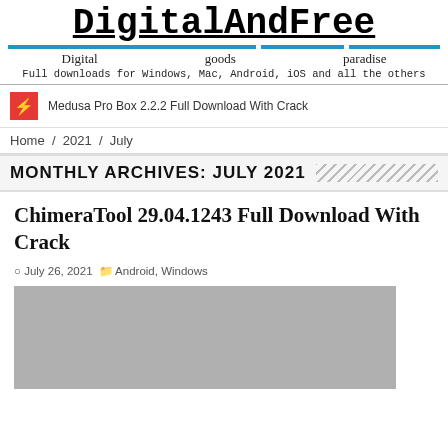DigitalAndFree — Digital goods paradise. Full downloads for Windows, Mac, Android, iOS and all the others
Medusa Pro Box 2.2.2 Full Download With Crack
Home / 2021 / July
MONTHLY ARCHIVES: JULY 2021
ChimeraTool 29.04.1243 Full Download With Crack
July 26, 2021  Android, Windows
[Figure (photo): Gray placeholder image for ChimeraTool article]